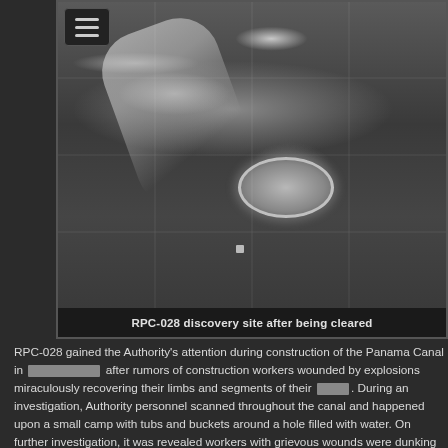[Figure (photo): Black and white photograph of the RPC-028 discovery site after being cleared, showing a ground-level aerial or elevated view of a cleared area with a distinctive oval/circular feature visible and a light-colored path or creek running through rocky/muddy terrain.]
RPC-028 discovery site after being cleared
RPC-028 gained the Authority's attention during construction of the Panama Canal in [REDACTED] after rumors of construction workers wounded by explosions miraculously recovering their limbs and segments of their [REDACTED]. During an investigation, Authority personnel scanned throughout the canal and happened upon a small camp with tubs and buckets around a hole filled with water. On further investigation, it was revealed workers with grievous wounds were dunking and dousing their injuries in what appeared to be regular water and slowly and visibly healed large amounts of flesh, organs, and skin